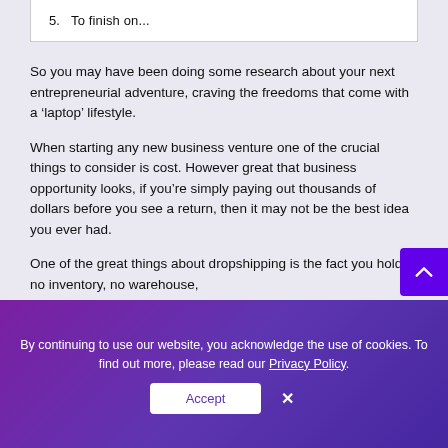5.  To finish on...
So you may have been doing some research about your next entrepreneurial adventure, craving the freedoms that come with a ‘laptop’ lifestyle.
When starting any new business venture one of the crucial things to consider is cost. However great that business opportunity looks, if you’re simply paying out thousands of dollars before you see a return, then it may not be the best idea you ever had.
One of the great things about dropshipping is the fact you hold no inventory, no warehouse,
By continuing to use our website, you acknowledge the use of cookies. To find out more, please read our Privacy Policy.